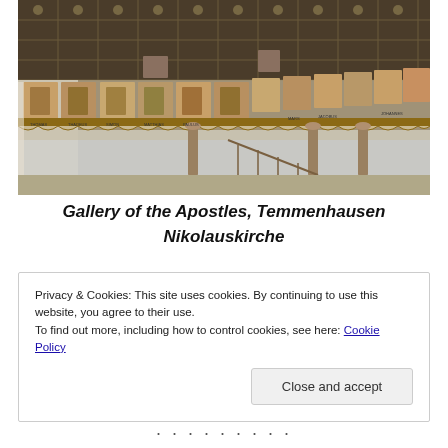[Figure (photo): Interior of Temmenhausen Nikolauskirche showing a wooden gallery with painted portraits of the Apostles along the balustrade, ornate painted ceiling panels, and white walls. Names such as JOHANNES and JACOBUS are visible on plaques below the paintings.]
Gallery of the Apostles, Temmenhausen Nikolauskirche
Privacy & Cookies: This site uses cookies. By continuing to use this website, you agree to their use.
To find out more, including how to control cookies, see here: Cookie Policy
Close and accept